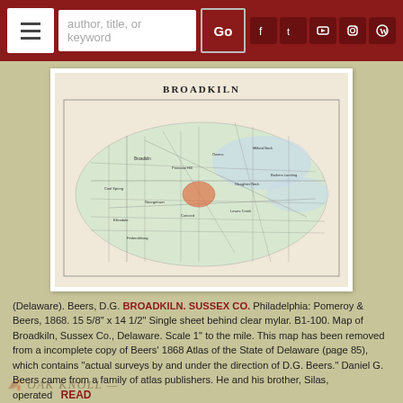Navigation bar with hamburger menu, search field, Go button, and social icons (Facebook, Twitter, YouTube, Instagram, WordPress)
[Figure (map): Historical map titled BROADKILN showing Broadkiln, Sussex County, Delaware region with roads, boundaries, and geographic features, with Oak Knoll watermark overlay]
(Delaware). Beers, D.G. BROADKILN. SUSSEX CO. Philadelphia: Pomeroy & Beers, 1868. 15 5/8" x 14 1/2" Single sheet behind clear mylar. B1-100. Map of Broadkiln, Sussex Co., Delaware. Scale 1" to the mile. This map has been removed from a incomplete copy of Beers' 1868 Atlas of the State of Delaware (page 85), which contains "actual surveys by and under the direction of D.G. Beers." Daniel G. Beers came from a family of atlas publishers. He and his brother, Silas, operated READ